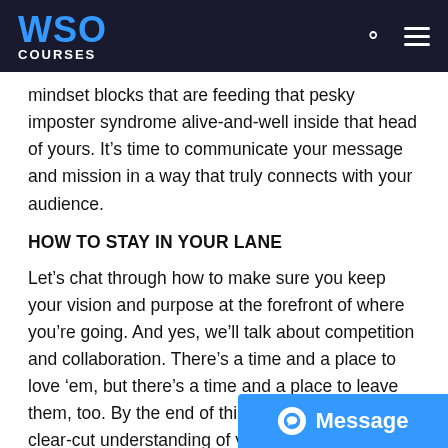WSO COURSES
mindset blocks that are feeding that pesky imposter syndrome alive-and-well inside that head of yours. It’s time to communicate your message and mission in a way that truly connects with your audience.
HOW TO STAY IN YOUR LANE
Let’s chat through how to make sure you keep your vision and purpose at the forefront of where you’re going. And yes, we’ll talk about competition and collaboration. There’s a time and a place to love ’em, but there’s a time and a place to leave them, too. By the end of this module, you’ll have a clear-cut understanding of your purpose which lays the foundation for everything e